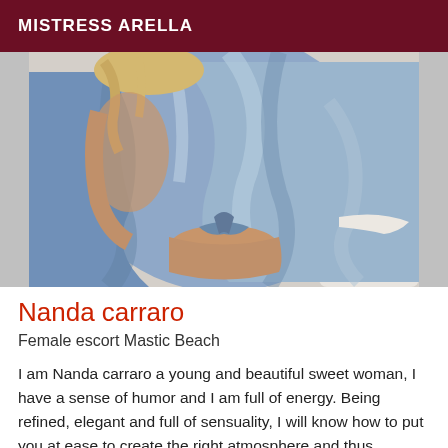MISTRESS ARELLA
[Figure (photo): Woman in a light blue satin robe sitting on a bed, back facing the camera, blonde hair, lace trim visible on robe sleeve]
Nanda carraro
Female escort Mastic Beach
I am Nanda carraro a young and beautiful sweet woman, I have a sense of humor and I am full of energy. Being refined, elegant and full of sensuality, I will know how to put you at ease to create the right atmosphere and thus